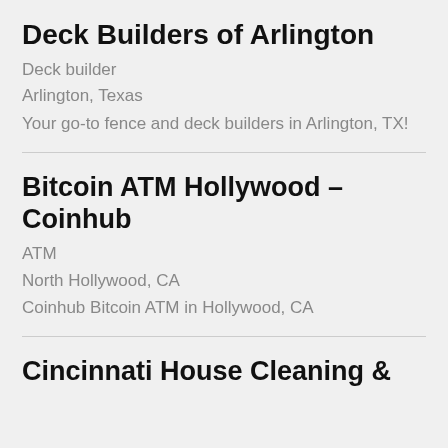Deck Builders of Arlington
Deck builder
Arlington, Texas
Your go-to fence and deck builders in Arlington, TX!
Bitcoin ATM Hollywood – Coinhub
ATM
North Hollywood, CA
Coinhub Bitcoin ATM in Hollywood, CA
Cincinnati House Cleaning &